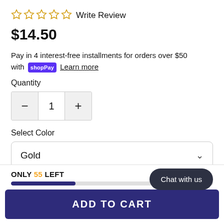☆ ☆ ☆ ☆ ☆ Write Review
$14.50
Pay in 4 interest-free installments for orders over $50 with shop Pay Learn more
Quantity
1
Select Color
Gold
ONLY 55 LEFT
ADD TO CART
Chat with us